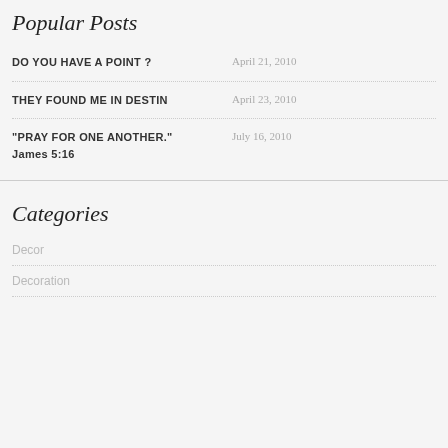Popular Posts
DO YOU HAVE A POINT ?  April 21, 2010
THEY FOUND ME IN DESTIN  April 23, 2010
“PRAY FOR ONE ANOTHER.” James 5:16  July 16, 2010
Categories
Decor
Decoration